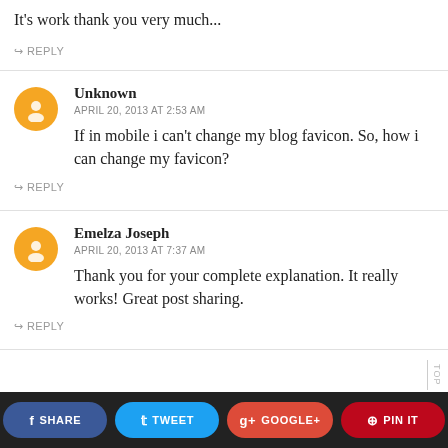It's work thank you very much...
↪ REPLY
Unknown
APRIL 20, 2013 AT 2:53 AM
If in mobile i can't change my blog favicon. So, how i can change my favicon?
↪ REPLY
Emelza Joseph
APRIL 20, 2013 AT 7:37 AM
Thank you for your complete explanation. It really works! Great post sharing.
↪ REPLY
SHARE   TWEET   GOOGLE+   PIN IT